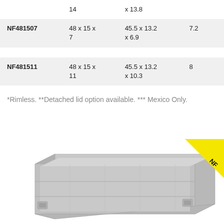| Model | Dimensions (in) | Interior Dimensions (in) | Cu Ft |
| --- | --- | --- | --- |
|  | 14 | x 13.8 |  |
| NF481507 | 48 x 15 x 7 | 45.5 x 13.2 x 6.9 | 7.2 |
| NF481511 | 48 x 15 x 11 | 45.5 x 13.2 x 10.3 | 8 |
*Rimless. **Detached lid option available. *** Mexico Only.
[Figure (photo): Gray rectangular plastic storage container/tote with NF logo badge in yellow on upper right corner]